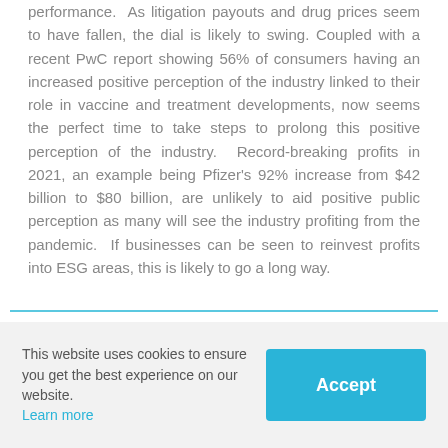performance. As litigation payouts and drug prices seem to have fallen, the dial is likely to swing. Coupled with a recent PwC report showing 56% of consumers having an increased positive perception of the industry linked to their role in vaccine and treatment developments, now seems the perfect time to take steps to prolong this positive perception of the industry. Record-breaking profits in 2021, an example being Pfizer's 92% increase from $42 billion to $80 billion, are unlikely to aid positive public perception as many will see the industry profiting from the pandemic. If businesses can be seen to reinvest profits into ESG areas, this is likely to go a long way.
This website uses cookies to ensure you get the best experience on our website. Learn more
Accept